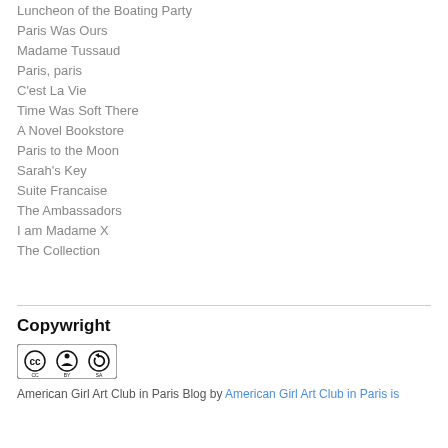Luncheon of the Boating Party
Paris Was Ours
Madame Tussaud
Paris, paris
C'est La Vie
Time Was Soft There
A Novel Bookstore
Paris to the Moon
Sarah's Key
Suite Francaise
The Ambassadors
I am Madame X
The Collection
Copywright
[Figure (logo): Creative Commons CC BY-SA license badge]
American Girl Art Club in Paris Blog by American Girl Art Club in Paris is